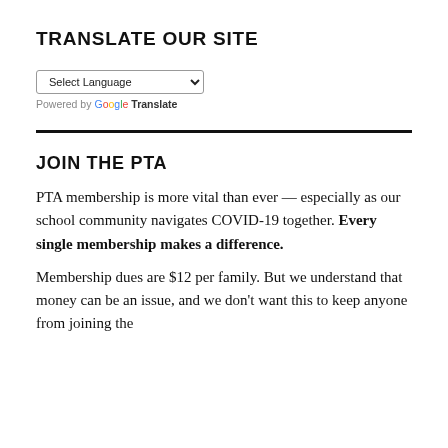TRANSLATE OUR SITE
[Figure (other): Google Translate widget with a language select dropdown labeled 'Select Language' and a 'Powered by Google Translate' label below.]
JOIN THE PTA
PTA membership is more vital than ever — especially as our school community navigates COVID-19 together. Every single membership makes a difference.
Membership dues are $12 per family. But we understand that money can be an issue, and we don't want this to keep anyone from joining the